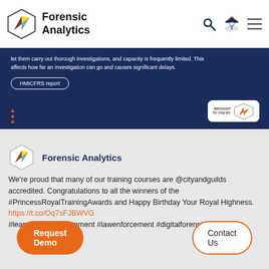Forensic Analytics
[Figure (screenshot): Dark navy banner with text about investigations and HMICFRS report button, and Forensic Analytics badge]
Forensic Analytics
We're proud that many of our training courses are @cityandguilds accredited. Congratulations to all the winners of the #PrincessRoyalTrainingAwards and Happy Birthday Your Royal Highness.
https://t.co/Oq7sFJBWVG
#learninganddevelopment #lawenforcement #digitalforensics
Request Demo
Contact Us